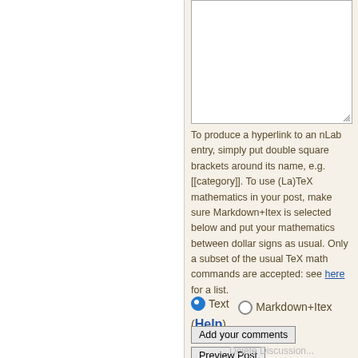[Figure (screenshot): A text input area (textarea) with a resize handle in the bottom-right corner, on a beige/cream background panel.]
To produce a hyperlink to an nLab entry, simply put double square brackets around its name, e.g. [[category]]. To use (La)TeX mathematics in your post, make sure Markdown+Itex is selected below and put your mathematics between dollar signs as usual. Only a subset of the usual TeX math commands are accepted: see here for a list.
Text  ○ Markdown+Itex (Help)
Add your comments
Preview Post
Delete Discussion...